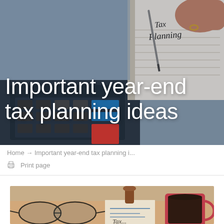[Figure (photo): Hero background photo showing a notebook with 'Tax Planning' written on it, a calculator, and a person's hand holding a pen]
Important year-end tax planning ideas
Home → Important year-end tax planning i...
Print page
[Figure (photo): Secondary photo showing glasses, a coffee mug, papers with charts, and handwritten text partially visible saying 'Tax...']